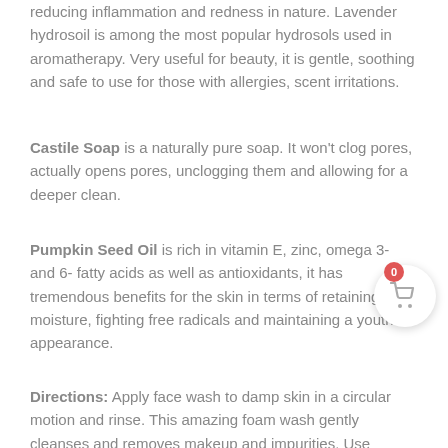reducing inflammation and redness in nature. Lavender hydrosoil is among the most popular hydrosols used in aromatherapy. Very useful for beauty, it is gentle, soothing and safe to use for those with allergies, scent irritations.
Castile Soap is a naturally pure soap. It won't clog pores, actually opens pores, unclogging them and allowing for a deeper clean.
Pumpkin Seed Oil is rich in vitamin E, zinc, omega 3- and 6- fatty acids as well as antioxidants, it has tremendous benefits for the skin in terms of retaining moisture, fighting free radicals and maintaining a youthful appearance.
Directions: Apply face wash to damp skin in a circular motion and rinse. This amazing foam wash gently cleanses and removes makeup and impurities. Use...